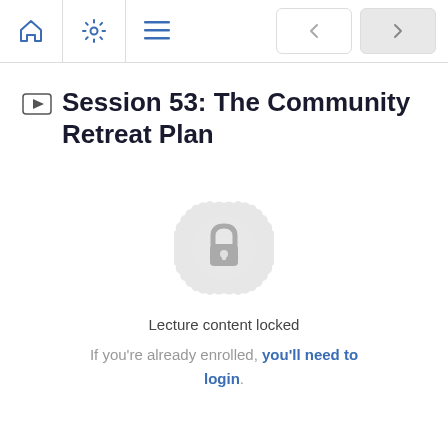Session 53: The Community Retreat Plan — navigation header with home, settings, menu icons and prev/next buttons
Session 53: The Community Retreat Plan
[Figure (illustration): A circular badge/seal icon with a padlock in the center, indicating locked content. The badge has a decorative scalloped/gear-like edge in light gray.]
Lecture content locked
If you're already enrolled, you'll need to login.